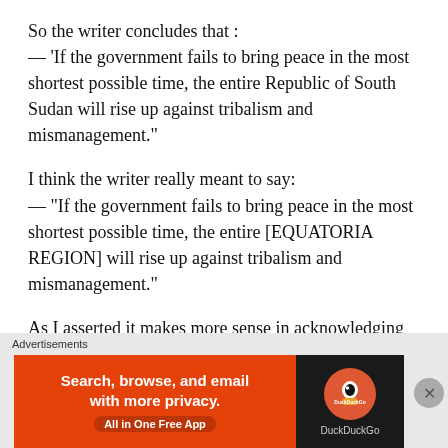So the writer concludes that :
— 'If the government fails to bring peace in the most shortest possible time, the entire Republic of South Sudan will rise up against tribalism and mismanagement.'
I think the writer really meant to say:
— "If the government fails to bring peace in the most shortest possible time, the entire [EQUATORIA REGION] will rise up against tribalism and mismanagement."
As I asserted it makes more sense in acknowledging the fact that most of Equatoria Region lies dormant and
Advertisements
[Figure (screenshot): DuckDuckGo advertisement banner: orange left panel with text 'Search, browse, and email with more privacy. All in One Free App' and dark right panel with DuckDuckGo logo]